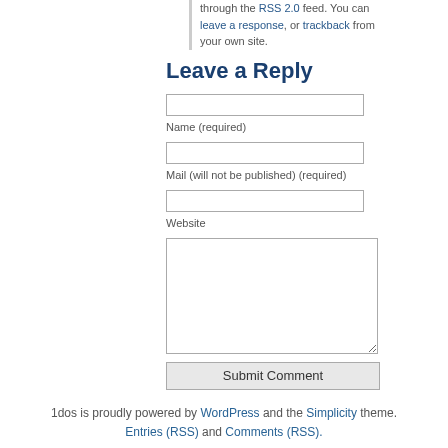through the RSS 2.0 feed. You can leave a response, or trackback from your own site.
Leave a Reply
Name (required)
Mail (will not be published) (required)
Website
Submit Comment
1dos is proudly powered by WordPress and the Simplicity theme. Entries (RSS) and Comments (RSS).